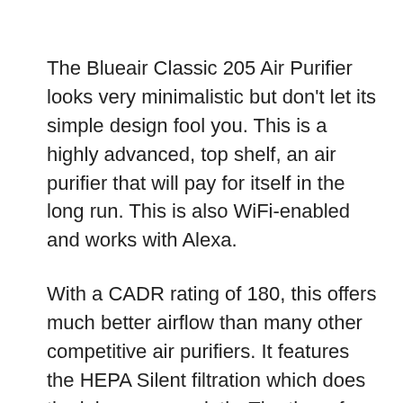The Blueair Classic 205 Air Purifier looks very minimalistic but don't let its simple design fool you. This is a highly advanced, top shelf, an air purifier that will pay for itself in the long run. This is also WiFi-enabled and works with Alexa.
With a CADR rating of 180, this offers much better airflow than many other competitive air purifiers. It features the HEPA Silent filtration which does the job ever so quietly. The three fan speeds include a quiet low speed that's perfect for